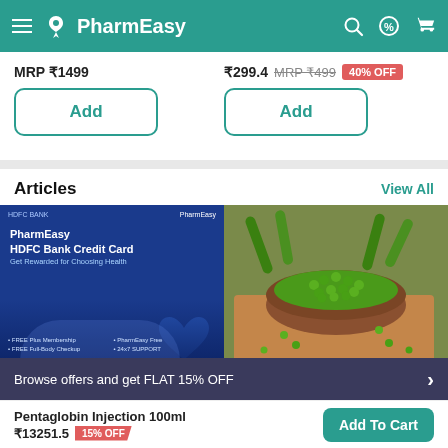PharmEasy
MRP ₹1499
₹299.4  MRP ₹499  40% OFF
Add
Add
Articles
View All
[Figure (photo): PharmEasy HDFC Bank Credit Card promotional banner with two women smiling]
[Figure (photo): Bowl of green peas on a wooden board with PharmEasy logo]
Browse offers and get FLAT 15% OFF
Pentaglobin Injection 100ml ₹13251.5  15% OFF
Add To Cart